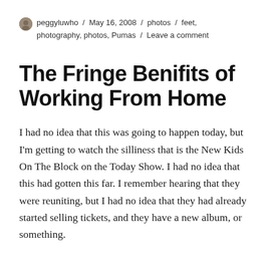peggyluwho / May 16, 2008 / photos / feet, photography, photos, Pumas / Leave a comment
The Fringe Benifits of Working From Home
I had no idea that this was going to happen today, but I'm getting to watch the silliness that is the New Kids On The Block on the Today Show. I had no idea that this had gotten this far. I remember hearing that they were reuniting, but I had no idea that they had already started selling tickets, and they have a new album, or something.